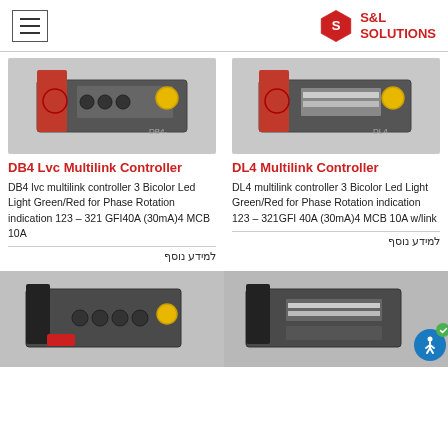S&L Solutions
[Figure (photo): DB4 Lvc Multilink Controller device photo - black rack unit with red connectors and yellow emergency button]
[Figure (photo): DL4 Multilink Controller device photo - black rack unit with red connector and yellow emergency button]
DB4 Lvc Multilink Controller
DB4 lvc multilink controller 3 Bicolor Led Light Green/Red for Phase Rotation indication 123 – 321 GFI40A (30mA)4 MCB 10A
למידע נוסף
DL4 Multilink Controller
DL4 multilink controller 3 Bicolor Led Light Green/Red for Phase Rotation indication 123 – 321GFI 40A (30mA)4 MCB 10A w/link
למידע נוסף
[Figure (photo): Bottom left product - black rack unit with multiple connectors and yellow/red emergency button]
[Figure (photo): Bottom right product - black rack unit with multiple connectors, partially visible]